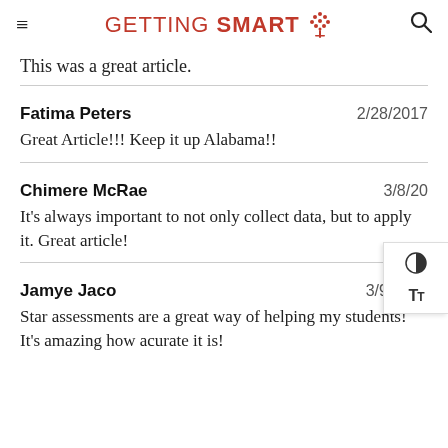GETTING SMART
This was a great article.
Fatima Peters   2/28/2017
Great Article!!! Keep it up Alabama!!
Chimere McRae   3/8/2017
It's always important to not only collect data, but to apply it. Great article!
Jamye Jaco   3/9/2017
Star assessments are a great way of helping my students! It's amazing how acurate it is!